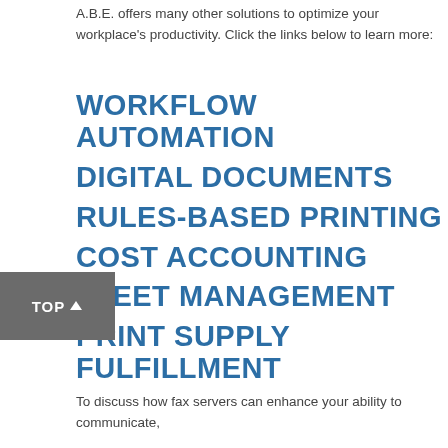A.B.E. offers many other solutions to optimize your workplace's productivity. Click the links below to learn more:
WORKFLOW AUTOMATION
DIGITAL DOCUMENTS
RULES-BASED PRINTING
COST ACCOUNTING
FLEET MANAGEMENT
PRINT SUPPLY FULFILLMENT
To discuss how fax servers can enhance your ability to communicate,